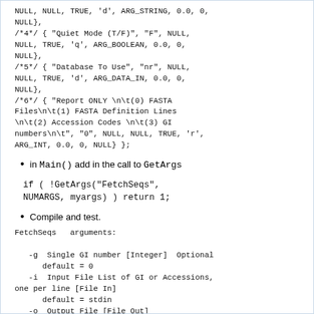NULL, NULL, TRUE, 'd', ARG_STRING, 0.0, 0,
NULL},
/*4*/ { "Quiet Mode (T/F)", "F", NULL,
NULL, TRUE, 'q', ARG_BOOLEAN, 0.0, 0,
NULL},
/*5*/ { "Database To Use", "nr", NULL,
NULL, TRUE, 'd', ARG_DATA_IN, 0.0, 0,
NULL},
/*6*/ { "Report ONLY \n\t(0) FASTA
Files\n\t(1) FASTA Definition Lines
\n\t(2) Accession Codes \n\t(3) GI
numbers\n\t", "0", NULL, NULL, TRUE, 'r',
ARG_INT, 0.0, 0, NULL} };
in Main() add in the call to GetArgs
if ( !GetArgs("FetchSeqs",
NUMARGS, myargs) ) return 1;
Compile and test.
FetchSeqs   arguments:

   -g  Single GI number [Integer]  Optional
      default = 0
   -i  Input File List of GI or Accessions,
one per line [File In]
      default = stdin
   -o  Output File [File Out]
      default = stdout
   -a  Single Accession Code [String]
Optional
      default = NULL